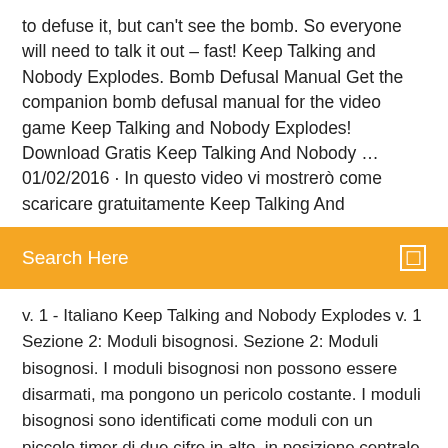to defuse it, but can't see the bomb. So everyone will need to talk it out – fast! Keep Talking and Nobody Explodes. Bomb Defusal Manual Get the companion bomb defusal manual for the video game Keep Talking and Nobody Explodes! Download Gratis Keep Talking And Nobody … 01/02/2016 · In questo video vi mostrerò come scaricare gratuitamente Keep Talking And
Search Here
v. 1 - Italiano Keep Talking and Nobody Explodes v. 1 Sezione 2: Moduli bisognosi. Sezione 2: Moduli bisognosi. I moduli bisognosi non possono essere disarmati, ma pongono un pericolo costante. I moduli bisognosi sono identificati come moduli con un piccolo timer di due cifre in alto, in posizione centrale. Qualsiasi interazione con la bomba potrebbe attivarli. Una volta attivati, questi moduli devono essere
Microsoft office word 2007 téléchargement gratuit
Convertir document word en image